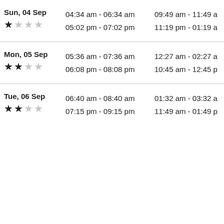| Date / Rating | Times (col 1) | Times (col 2) |
| --- | --- | --- |
| Sun, 04 Sep
★☆☆☆ | 04:34 am - 06:34 am
05:02 pm - 07:02 pm | 09:49 am - 11:49 a…
11:19 pm - 01:19 a… |
| Mon, 05 Sep
★★☆☆ | 05:36 am - 07:36 am
06:08 pm - 08:08 pm | 12:27 am - 02:27 a…
10:45 am - 12:45 p… |
| Tue, 06 Sep
★★☆☆ | 06:40 am - 08:40 am
07:15 pm - 09:15 pm | 01:32 am - 03:32 a…
11:49 am - 01:49 p… |